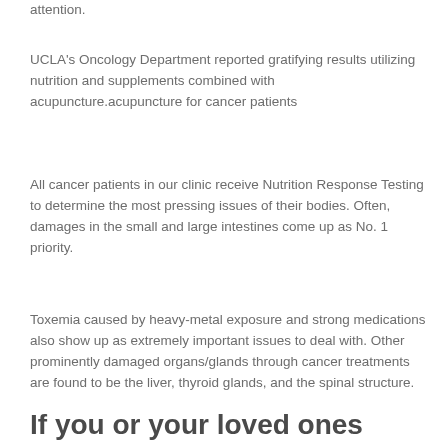attention.
UCLA's Oncology Department reported gratifying results utilizing nutrition and supplements combined with acupuncture.acupuncture for cancer patients
All cancer patients in our clinic receive Nutrition Response Testing to determine the most pressing issues of their bodies. Often, damages in the small and large intestines come up as No. 1 priority.
Toxemia caused by heavy-metal exposure and strong medications also show up as extremely important issues to deal with. Other prominently damaged organs/glands through cancer treatments are found to be the liver, thyroid glands, and the spinal structure.
If you or your loved ones